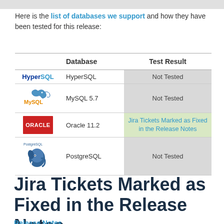Here is the list of databases we support and how they have been tested for this release:
|  | Database | Test Result |
| --- | --- | --- |
| HyperSQL logo | HyperSQL | Not Tested |
| MySQL logo | MySQL 5.7 | Not Tested |
| Oracle logo | Oracle 11.2 | Jira Tickets Marked as Fixed in the Release Notes |
| PostgreSQL logo | PostgreSQL | Not Tested |
Jira Tickets Marked as Fixed in the Release Notes
Release Notes